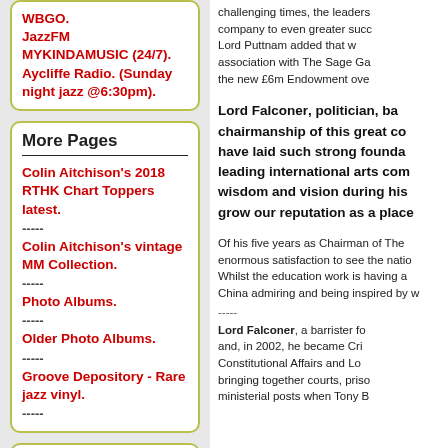WBGO. JazzFM MYKINDAMUSIC (24/7). Aycliffe Radio. (Sunday night jazz @6:30pm).
More Pages
Colin Aitchison's 2018 RTHK Chart Toppers latest.
-----
Colin Aitchison's vintage MM Collection.
-----
Photo Albums.
-----
Older Photo Albums.
-----
Groove Depository - Rare jazz vinyl.
-----
Pages
challenging times, the leaders company to even greater succ Lord Puttnam added that w association with The Sage Ga the new £6m Endowment ove
Lord Falconer, politician, ba chairmanship of this great co have laid such strong founda leading international arts com wisdom and vision during his grow our reputation as a place
Of his five years as Chairman of The enormous satisfaction to see the natio Whilst the education work is having a China admiring and being inspired by w
-----
Lord Falconer, a barrister fo and, in 2002, he became Cri Constitutional Affairs and Lo bringing together courts, priso ministerial posts when Tony B